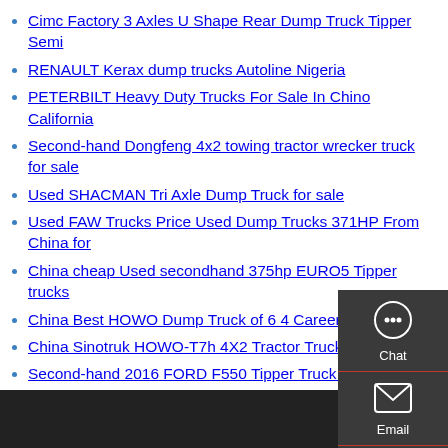Cimc Factory 3 Axles U Shape Rear Dump Truck Tipper Semi
RENAULT Kerax dump trucks Autoline Nigeria
PETERBILT Heavy Duty Trucks For Sale In Chino California
Second-hand Dongfeng 4x2 towing tractor wrecker truck for sale
Used SHACMAN Tri Axle Dump Truck for sale
Used FAW Trucks Price Used Dump Trucks 371HP From China for
China cheap Used secondhand 375hp EURO5 Tipper trucks
China Best HOWO Dump Truck of 6 4 Career-info in
China Sinotruk HOWO-T7h 4X2 Tractor Truck Euro3 China
Second-hand 2016 FORD F550 Tipper Truck Used Dump
Used Used Sinotruck HOWO 6X4 Tipper Truck Dump Trucks